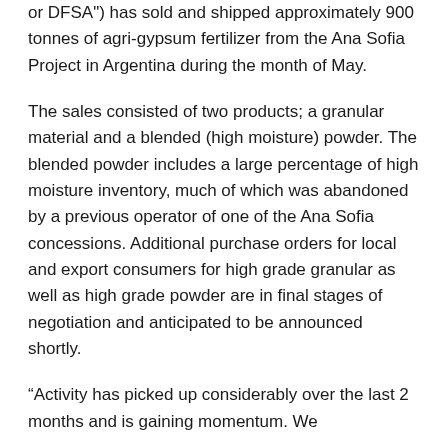or DFSA") has sold and shipped approximately 900 tonnes of agri-gypsum fertilizer from the Ana Sofia Project in Argentina during the month of May.
The sales consisted of two products; a granular material and a blended (high moisture) powder. The blended powder includes a large percentage of high moisture inventory, much of which was abandoned by a previous operator of one of the Ana Sofia concessions. Additional purchase orders for local and export consumers for high grade granular as well as high grade powder are in final stages of negotiation and anticipated to be announced shortly.
“Activity has picked up considerably over the last 2 months and is gaining momentum. We